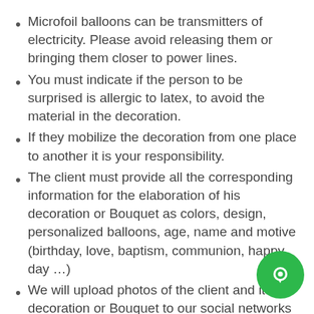Microfoil balloons can be transmitters of electricity. Please avoid releasing them or bringing them closer to power lines.
You must indicate if the person to be surprised is allergic to latex, to avoid the material in the decoration.
If they mobilize the decoration from one place to another it is your responsibility.
The client must provide all the corresponding information for the elaboration of his decoration or Bouquet as colors, design, personalized balloons, age, name and motive (birthday, love, baptism, communion, happy day …)
We will upload photos of the client and its decoration or Bouquet to our social networks website, if you do not agree with the publication of these images please notify us. We promise not to …